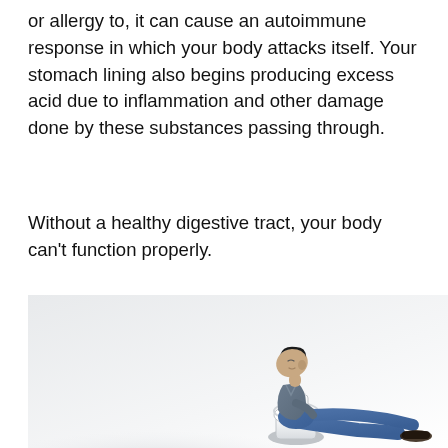or allergy to, it can cause an autoimmune response in which your body attacks itself. Your stomach lining also begins producing excess acid due to inflammation and other damage done by these substances passing through.
Without a healthy digestive tract, your body can't function properly.
[Figure (photo): A man sitting on a toilet with his head tilted back, wearing a grey polo shirt and blue shorts with sandals, against a light grey/white background.]